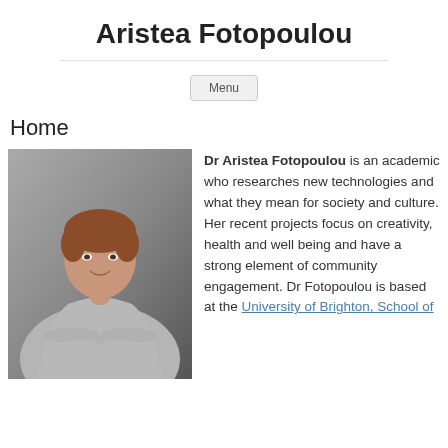Aristea Fotopoulou
Menu
Home
[Figure (photo): Portrait photo of Dr Aristea Fotopoulou, a woman with short red hair wearing a grey blazer, arms crossed, smiling against a grey background.]
Dr Aristea Fotopoulou is an academic who researches new technologies and what they mean for society and culture. Her recent projects focus on creativity, health and well being and have a strong element of community engagement. Dr Fotopoulou is based at the University of Brighton, School of